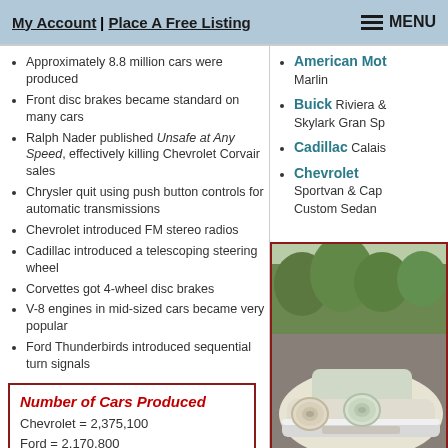My Account | Place A Free Listing   MENU
Approximately 8.8 million cars were produced
Front disc brakes became standard on many cars
Ralph Nader published Unsafe at Any Speed, effectively killing Chevrolet Corvair sales
Chrysler quit using push button controls for automatic transmissions
Chevrolet introduced FM stereo radios
Cadillac introduced a telescoping steering wheel
Corvettes got 4-wheel disc brakes
V-8 engines in mid-sized cars became very popular
Ford Thunderbirds introduced sequential turn signals
American Motors Marlin
Buick Riviera & Skylark Gran Sp
Cadillac Calais
Chevrolet Sportvan & Cap Custom Sedan
| Number of Cars Produced |
| --- |
| Chevrolet = 2,375,100 |
| Ford = 2,170,800 |
| Pontiac = 802,000 |
| Plymouth = 728,250 |
| Buick = 600,150 |
[Figure (photo): Front view of a vintage white/cream classic car with chrome bumper and round headlights, parked outdoors with trees in background]